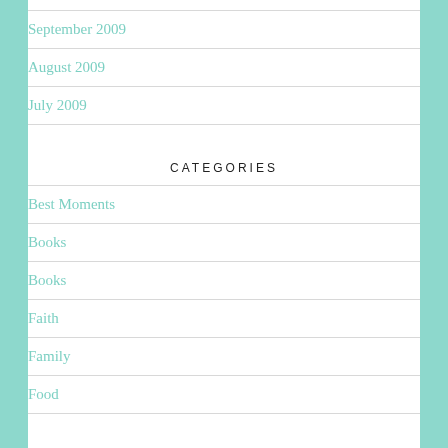September 2009
August 2009
July 2009
CATEGORIES
Best Moments
Books
Books
Faith
Family
Food